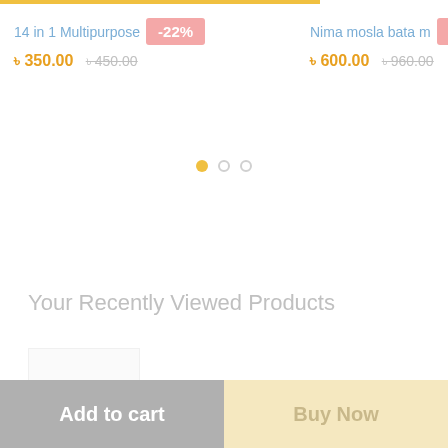[Figure (screenshot): E-commerce product listing screenshot showing two products with discount badges and prices]
14 in 1 Multipurpose
-22%
৳ 350.00 ৳ 450.00
Nima mosla bata m
-38%
৳ 600.00 ৳ 960.00
Your Recently Viewed Products
Add to cart
Buy Now